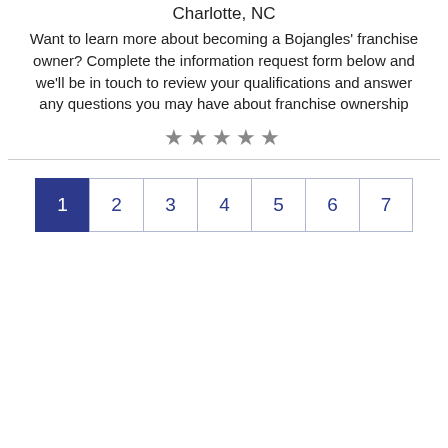Charlotte, NC
Want to learn more about becoming a Bojangles' franchise owner? Complete the information request form below and we'll be in touch to review your qualifications and answer any questions you may have about franchise ownership
[Figure (other): Five gray star rating icons in a row]
[Figure (other): Pagination control with 7 page buttons, page 1 active (dark blue), pages 2-7 as outlined buttons]